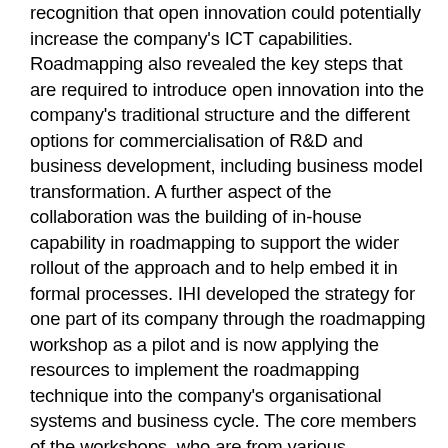recognition that open innovation could potentially increase the company's ICT capabilities. Roadmapping also revealed the key steps that are required to introduce open innovation into the company's traditional structure and the different options for commercialisation of R&D and business development, including business model transformation. A further aspect of the collaboration was the building of in-house capability in roadmapping to support the wider rollout of the approach and to help embed it in formal processes. IHI developed the strategy for one part of its company through the roadmapping workshop as a pilot and is now applying the resources to implement the roadmapping technique into the company's organisational systems and business cycle. The core members of the workshops, who are from various departments of IHI, are introducing roadmapping techniques to their departments. Roadmapping is being used as a tool to communicate and discuss strategies in a